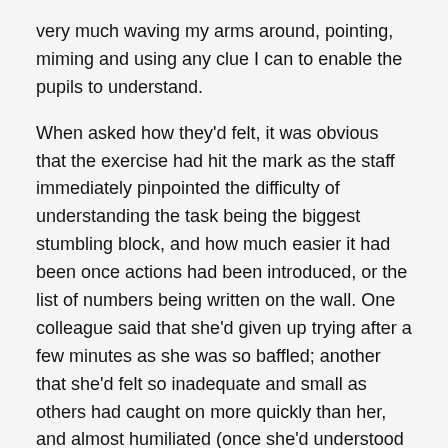very much waving my arms around, pointing, miming and using any clue I can to enable the pupils to understand.
When asked how they'd felt, it was obvious that the exercise had hit the mark as the staff immediately pinpointed the difficulty of understanding the task being the biggest stumbling block, and how much easier it had been once actions had been introduced, or the list of numbers being written on the wall. One colleague said that she'd given up trying after a few minutes as she was so baffled; another that she'd felt so inadequate and small as others had caught on more quickly than her, and almost humiliated (once she'd understood it) by the simplicity of the task that she'd been unable to do.
So, despite my discomfort at teaching in a way that is